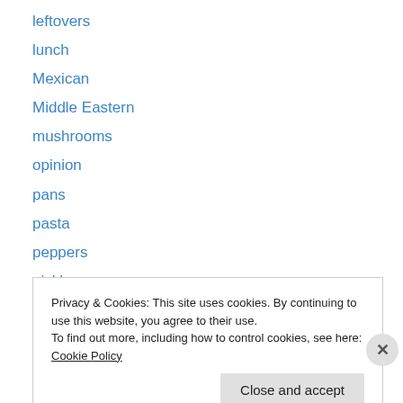leftovers
lunch
Mexican
Middle Eastern
mushrooms
opinion
pans
pasta
peppers
pickles
pie
pizza
potato
Privacy & Cookies: This site uses cookies. By continuing to use this website, you agree to their use.
To find out more, including how to control cookies, see here: Cookie Policy